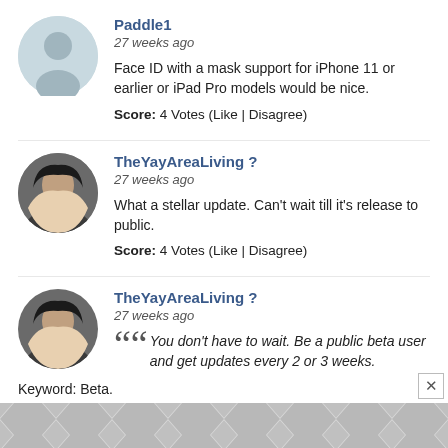Paddle1
27 weeks ago
Face ID with a mask support for iPhone 11 or earlier or iPad Pro models would be nice.
Score: 4 Votes (Like | Disagree)
TheYayAreaLiving ?
27 weeks ago
What a stellar update. Can't wait till it's release to public.
Score: 4 Votes (Like | Disagree)
TheYayAreaLiving ?
27 weeks ago
You don't have to wait. Be a public beta user and get updates every 2 or 3 weeks.
Keyword: Beta.
[Figure (other): Advertisement banner with geometric diamond/chevron pattern in grey tones with a close button]